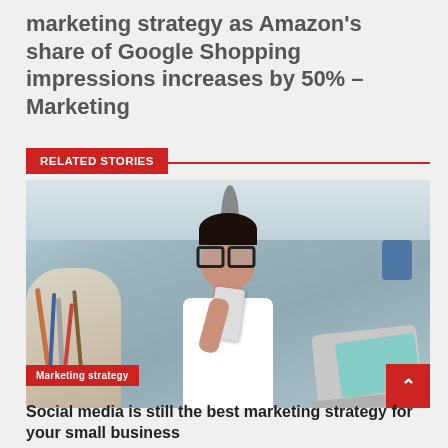marketing strategy as Amazon's share of Google Shopping impressions increases by 50% – Marketing
RELATED STORIES
[Figure (photo): A young woman with glasses sitting at a desk, smiling while holding a smartphone, with a laptop open in front of her, art supplies in the background, in an office or studio setting.]
Marketing strategy
Social media is still the best marketing strategy for your small business